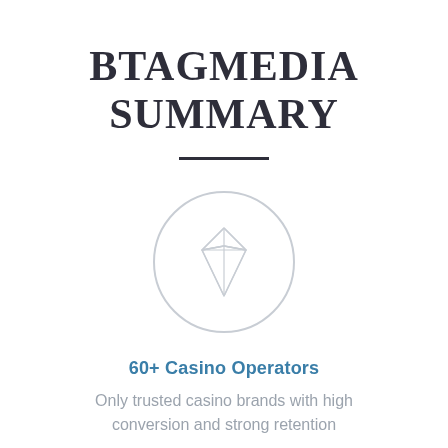BTAGMEDIA SUMMARY
[Figure (illustration): Diamond gem icon inside a light gray circle]
60+ Casino Operators
Only trusted casino brands with high conversion and strong retention
[Figure (illustration): Partial circle icon at bottom of page]